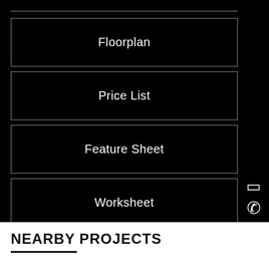Floorplan
Price List
Feature Sheet
Worksheet
NEARBY PROJECTS